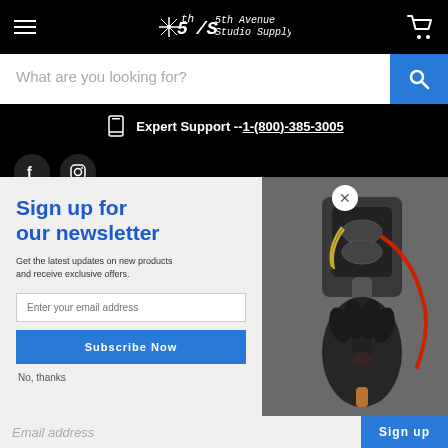5th Avenue Studio Supply — header with hamburger menu, logo, and cart icon
What are you looking for?
Expert Support --1-(800)-385-3005
[Figure (screenshot): Facebook and Instagram social media icon buttons in dark circles on black background]
Sign up for our newsletter
Get the latest updates on new products and receive exclusive offers.
Enter your email address
Subscribe Now
No, thanks
Email address
Sign up